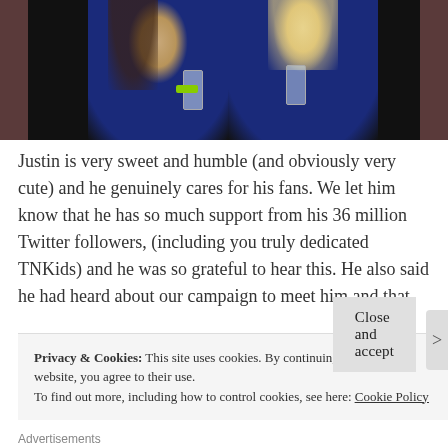[Figure (photo): Two women wearing blue outfits at an event, holding drinks, one with dark hair and green wristband, one with blonde hair]
Justin is very sweet and humble (and obviously very cute) and he genuinely cares for his fans. We let him know that he has so much support from his 36 million Twitter followers, (including you truly dedicated TNKids) and he was so grateful to hear this. He also said he had heard about our campaign to meet him and that
Privacy & Cookies: This site uses cookies. By continuing to use this website, you agree to their use.
To find out more, including how to control cookies, see here: Cookie Policy
Close and accept
Advertisements